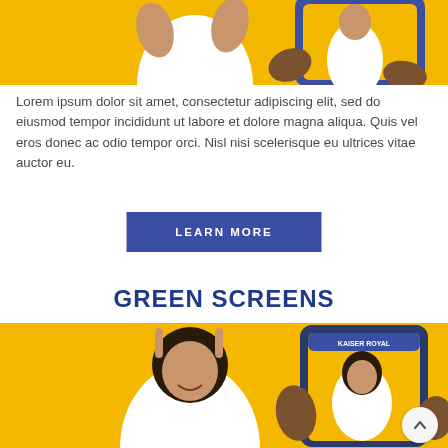[Figure (photo): Photo of a girl in white t-shirt against yellow background, holding up fingers, next to a hand holding a phone showing the same girl on screen (trading card style)]
Lorem ipsum dolor sit amet, consectetur adipiscing elit, sed do eiusmod tempor incididunt ut labore et dolore magna aliqua. Quis vel eros donec ac odio tempor orci. Nisl nisi scelerisque eu ultrices vitae auctor eu.
LEARN MORE
GREEN SCREENS
[Figure (photo): Photo of a girl with curly hair in white t-shirt against yellow background, pointing up, next to a hand holding a phone showing the same girl on a digital trading card screen with text 'KAISER ROYAL']